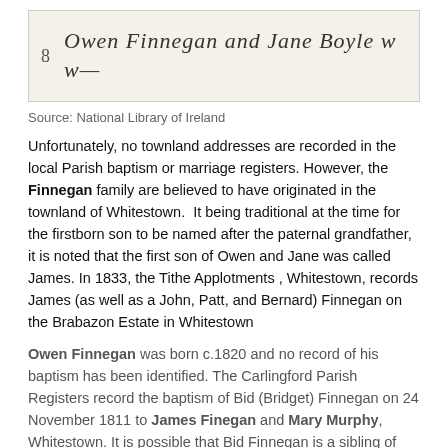[Figure (photo): Handwritten historical document excerpt showing line 8: 'Owen Finnegan and Jane Boyle w w-' in cursive script on aged paper background]
Source: National Library of Ireland
Unfortunately, no townland addresses are recorded in the local Parish baptism or marriage registers. However, the Finnegan family are believed to have originated in the townland of Whitestown. It being traditional at the time for the firstborn son to be named after the paternal grandfather, it is noted that the first son of Owen and Jane was called James. In 1833, the Tithe Applotments , Whitestown, records James (as well as a John, Patt, and Bernard) Finnegan on the Brabazon Estate in Whitestown
Owen Finnegan was born c.1820 and no record of his baptism has been identified. The Carlingford Parish Registers record the baptism of Bid (Bridget) Finnegan on 24 November 1811 to James Finegan and Mary Murphy, Whitestown. It is possible that Bid Finnegan is a sibling of Owen Finnegan and that James FINNEGAN and Mary White are his parents.